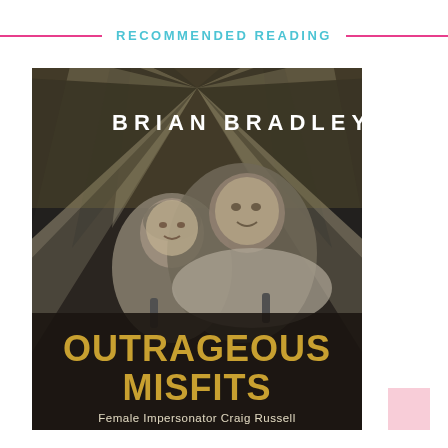RECOMMENDED READING
[Figure (illustration): Book cover for 'Outrageous Misfits: Female Impersonator Craig Russell' by Brian Bradley. Black and white photo of two people posing together, with dramatic radiating stripes in the background. The title 'OUTRAGEOUS MISFITS' appears in large gold metallic letters at the bottom, with the subtitle 'Female Impersonator Craig Russell' below. Author name 'BRIAN BRADLEY' appears at the top in white text.]